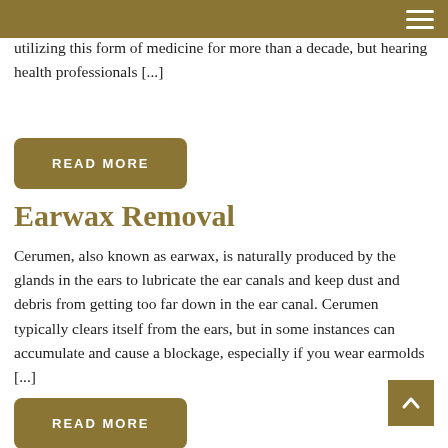utilizing this form of medicine for more than a decade, but hearing health professionals [...]
READ MORE
Earwax Removal
Cerumen, also known as earwax, is naturally produced by the glands in the ears to lubricate the ear canals and keep dust and debris from getting too far down in the ear canal. Cerumen typically clears itself from the ears, but in some instances can accumulate and cause a blockage, especially if you wear earmolds [...]
READ MORE